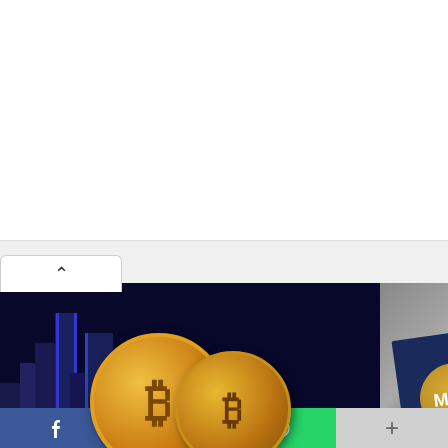[Figure (screenshot): Men's Wearhouse advertisement showing a suited mannequin figure and the text MEN'S WEARHOUSE New Lower Prices $69.99]
[Figure (photo): Bitcoin coins (gold physical coins with B symbol) in front of Dubai city skyline at night with blue neon lights]
DUBAI'S NEW CRYPTO MARKETING LAWS WILL PROTECT INVESTORS
RESHAB AGARWAL × AUGUST 30, 2022
[Figure (photo): MAS (Monetary Authority of Singapore) gold circle logo on dark navy blue background on grey surface]
SINGAPORE REG CRYPTO 'HIGHLY FOR STRICTER R RETAILERS